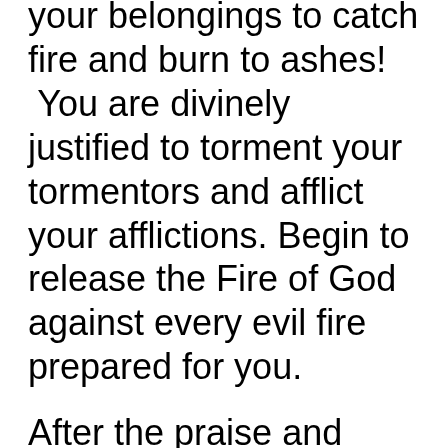your belongings to catch fire and burn to ashes! You are divinely justified to torment your tormentors and afflict your afflictions. Begin to release the Fire of God against every evil fire prepared for you.
After the praise and worship session, go with volcanic anger into these 12 prayer points for DAY 2. Pray it at midnight and midday. Pray it during the day too. Couple it with a 12-hour